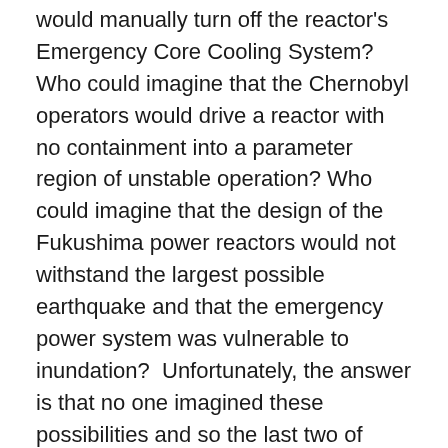would manually turn off the reactor's Emergency Core Cooling System? Who could imagine that the Chernobyl operators would drive a reactor with no containment into a parameter region of unstable operation? Who could imagine that the design of the Fukushima power reactors would not withstand the largest possible earthquake and that the emergency power system was vulnerable to inundation?  Unfortunately, the answer is that no one imagined these possibilities and so the last two of these accidents became catastrophes.
It's not just the big ones. Many other unanticipated nuclear accidents have occurred over the sixty years of nuclear power that avoided disasters with public consequences through the prompt operation of safety systems, skilled operator intervention and plain good luck.
Preliminary accounts of the Fukushima accident show